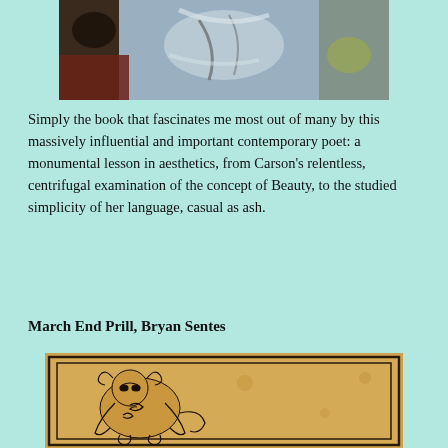[Figure (photo): Close-up photo of a painting or artwork showing loose brushstrokes in blue-grey, brown-red, and yellow-green tones]
Simply the book that fascinates me most out of many by this massively influential and important contemporary poet: a monumental lesson in aesthetics, from Carson’s relentless, centrifugal examination of the concept of Beauty, to the studied simplicity of her language, casual as ash.
March End Prill, Bryan Sentes
[Figure (illustration): An antique-style illustration on aged parchment or tan background showing a decorative border and a line drawing of a figure or creature]